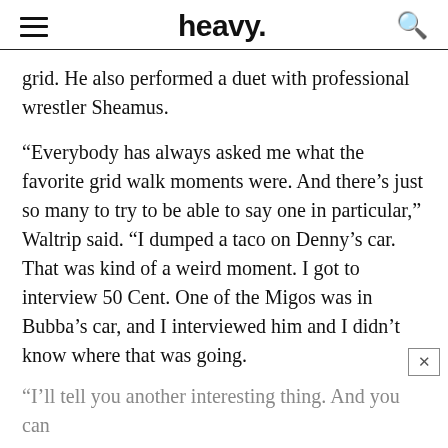heavy.
grid. He also performed a duet with professional wrestler Sheamus.
“Everybody has always asked me what the favorite grid walk moments were. And there’s just so many to try to be able to say one in particular,” Waltrip said. “I dumped a taco on Denny’s car. That was kind of a weird moment. I got to interview 50 Cent. One of the Migos was in Bubba’s car, and I interviewed him and I didn’t know where that was going.
“I’ll tell you another interesting thing. And you can